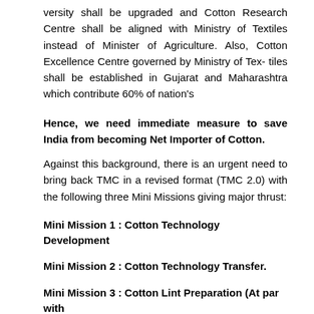versity shall be upgraded and Cotton Research Centre shall be aligned with Ministry of Textiles instead of Minister of Agriculture. Also, Cotton Excellence Centre governed by Ministry of Tex- tiles shall be established in Gujarat and Maharashtra which contribute 60% of nation's
Hence, we need immediate measure to save India from becoming Net Importer of Cotton.
Against this background, there is an urgent need to bring back TMC in a revised format (TMC 2.0) with the following three Mini Missions giving major thrust:
Mini Mission 1 : Cotton Technology Development
Mini Mission 2 : Cotton Technology Transfer.
Mini Mission 3 : Cotton Lint Preparation (At par with